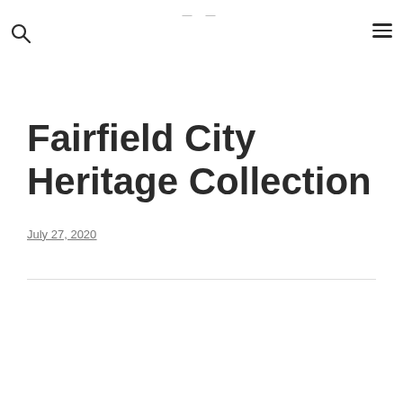— —
Fairfield City Heritage Collection
July 27, 2020